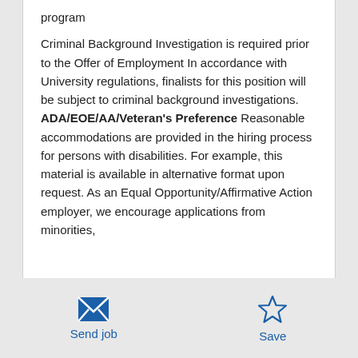program
Criminal Background Investigation is required prior to the Offer of Employment In accordance with University regulations, finalists for this position will be subject to criminal background investigations. ADA/EOE/AA/Veteran's Preference Reasonable accommodations are provided in the hiring process for persons with disabilities. For example, this material is available in alternative format upon request. As an Equal Opportunity/Affirmative Action employer, we encourage applications from minorities,
Send job | Save